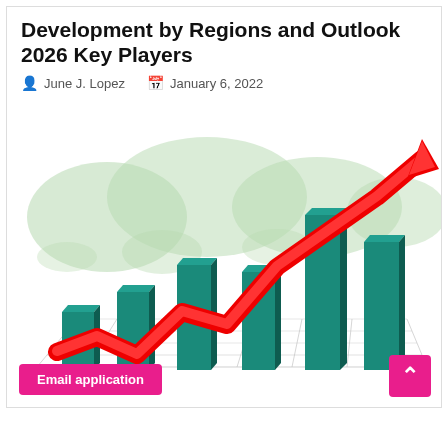Development by Regions and Outlook 2026 Key Players
June J. Lopez   January 6, 2022
[Figure (illustration): 3D bar chart illustration with teal/green rising bars on a grid floor, a world map silhouette in green in the background, and a bold red upward-trending arrow overlaid on the bars indicating growth.]
Email application